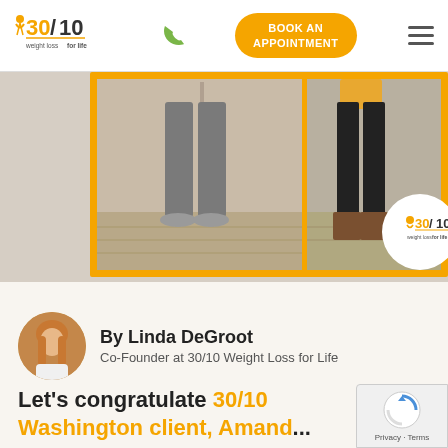30/10 weight loss for life | BOOK AN APPOINTMENT
[Figure (photo): Before and after lower body comparison photos in gold/yellow border. Left photo shows person wearing grey athletic pants and sneakers on hardwood floor. Right photo shows person wearing black leggings and brown boots. 30/10 Weight Loss for Life logo watermark in bottom right corner.]
By Linda DeGroot
Co-Founder at 30/10 Weight Loss for Life
Let's congratulate 30/10 Washington client, Amanda